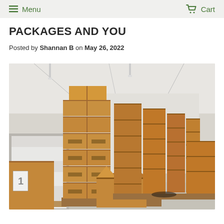Menu  Cart
PACKAGES AND YOU
Posted by Shannan B on May 26, 2022
[Figure (photo): Warehouse interior with stacked cardboard boxes on pallets, an open box in the foreground, and rows of boxes receding into the background under bright lighting.]